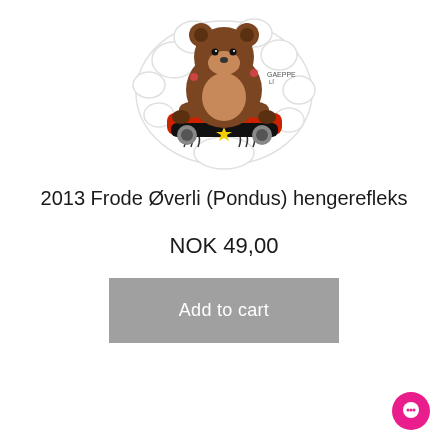[Figure (illustration): A cartoon sticker illustration of a round bear-like character (Pondus) riding a red skateboard with a yellow star, with claw marks below. White cloud-shaped sticker border. The character appears as a brown bear riding a red/black skateboard.]
2013 Frode Øverli (Pondus) hengerefleks
NOK 49,00
Add to cart
[Figure (illustration): Pink circular chat/support bubble icon in bottom right corner]